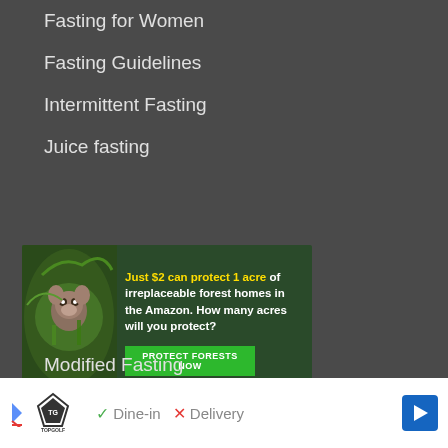Fasting for Women
Fasting Guidelines
Intermittent Fasting
Juice fasting
[Figure (other): Advertisement banner: Just $2 can protect 1 acre of irreplaceable forest homes in the Amazon. How many acres will you protect? With a 'Protect Forests Now' green button and an image of a monkey in a forest.]
Modified Fasting
[Figure (other): Bottom advertisement banner for TopGolf showing Dine-in with checkmark and Delivery with X, with a navigation arrow on the right.]